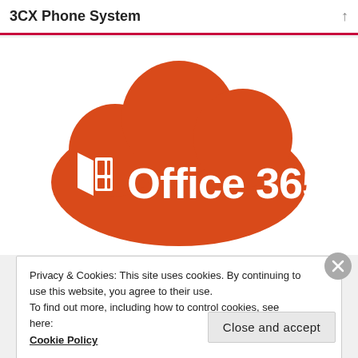3CX Phone System
[Figure (logo): Microsoft Office 365 logo on an orange cloud background. The cloud shape in orange-red contains the white Office window icon and the text 'Office 365' in white.]
Privacy & Cookies: This site uses cookies. By continuing to use this website, you agree to their use.
To find out more, including how to control cookies, see here:
Cookie Policy
Close and accept